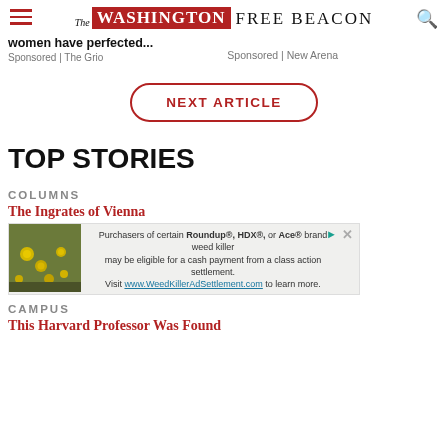The Washington Free Beacon
women have perfected...
Sponsored | The Grio
Sponsored | New Arena
NEXT ARTICLE
TOP STORIES
COLUMNS
The Ingrates of Vienna
[Figure (photo): Advertisement banner: Roundup weed killer class action settlement notice with photo of flowers and link to www.WeedKillerAdSettlement.com]
CAMPUS
This Harvard Professor Was Found